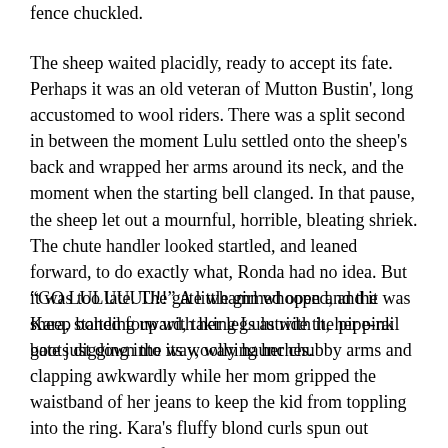fence chuckled.
The sheep waited placidly, ready to accept its fate. Perhaps it was an old veteran of Mutton Bustin', long accustomed to wool riders. There was a split second in between the moment Lulu settled onto the sheep's back and wrapped her arms around its neck, and the moment when the starting bell clanged. In that pause, the sheep let out a mournful, horrible, bleating shriek. The chute handler looked startled, and leaned forward, to do exactly what, Ronda had no idea. But it was too late. The gate whammed open and the sheep bolted forward, taking Lulu with it, her pink boots digging into its woolly haunches.
“GO LULUUUU!!” A little girl whooped, and it was Kara, standing up with her legs astride the pipe-rail gate just down the way, waving her chubby arms and clapping awkwardly while her mom gripped the waistband of her jeans to keep the kid from toppling into the ring. Kara's fluffy blond curls spun out around her round face in a luminous cotton-candy cloud that sparkled in the rodeo